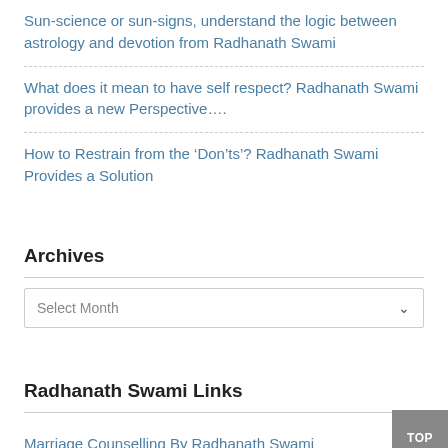Sun-science or sun-signs, understand the logic between astrology and devotion from Radhanath Swami
What does it mean to have self respect? Radhanath Swami provides a new Perspective….
How to Restrain from the ‘Don’ts’? Radhanath Swami Provides a Solution
Archives
Select Month
Radhanath Swami Links
Marriage Counselling By Radhanath Swami